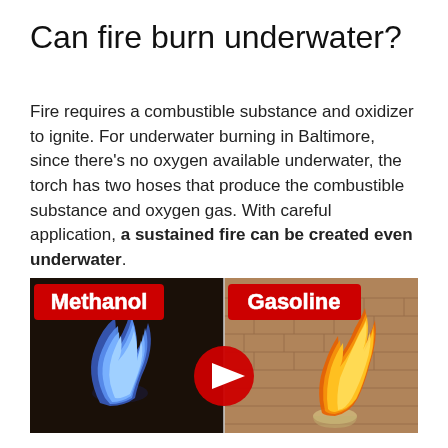Can fire burn underwater?
Fire requires a combustible substance and oxidizer to ignite. For underwater burning in Baltimore, since there’s no oxygen available underwater, the torch has two hoses that produce the combustible substance and oxygen gas. With careful application, a sustained fire can be created even underwater.
[Figure (photo): Video thumbnail showing two side-by-side images: left side labeled 'Methanol' showing a blue flame against a dark background, right side labeled 'Gasoline' showing a yellow-orange flame against a brick wall background. A red YouTube play button is centered over the thumbnail.]